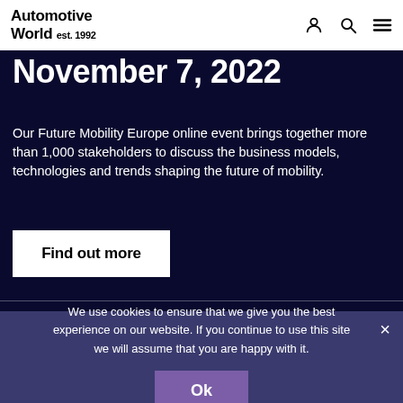Automotive World est. 1992
November 7, 2022
Our Future Mobility Europe online event brings together more than 1,000 stakeholders to discuss the business models, technologies and trends shaping the future of mobility.
Find out more
We use cookies to ensure that we give you the best experience on our website. If you continue to use this site we will assume that you are happy with it.
Ok